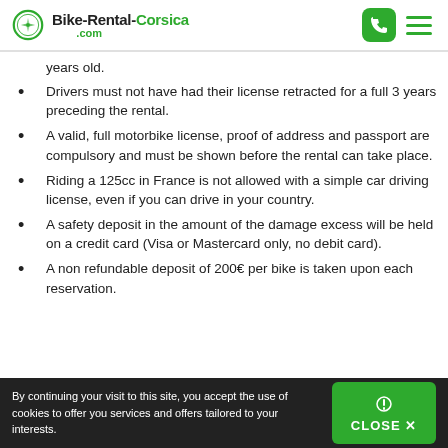Bike-Rental-Corsica.com
years old.
Drivers must not have had their license retracted for a full 3 years preceding the rental.
A valid, full motorbike license, proof of address and passport are compulsory and must be shown before the rental can take place.
Riding a 125cc in France is not allowed with a simple car driving license, even if you can drive in your country.
A safety deposit in the amount of the damage excess will be held on a credit card (Visa or Mastercard only, no debit card).
A non refundable deposit of 200€ per bike is taken upon each reservation.
By continuing your visit to this site, you accept the use of cookies to offer you services and offers tailored to your interests. CLOSE ✕